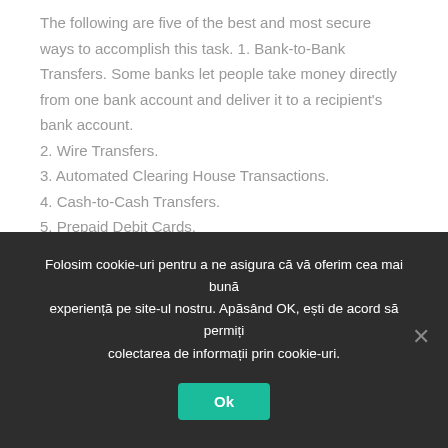The following are five of the best and most secure ways to accomplish this task. 1. Bank-to-Bank Transfers. Some banks let people take money directly from one bank account and deliver it to a recipient's bank account. 2. Wire Transfers. 3. Automated Clearing House Transactions. 4. Cash-to-Cash Transfers. 5. Prepaid Debit Cards.
You might be missing out on higher charges
Folosim cookie-uri pentru a ne asigura că vă oferim cea mai bună experiență pe site-ul nostru. Apăsând OK, ești de acord să permiți colectarea de informații prin cookie-uri.